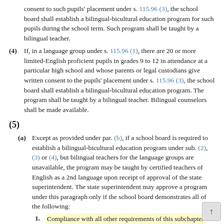consent to such pupils' placement under s. 115.96 (3), the school board shall establish a bilingual-bicultural education program for such pupils during the school term. Such program shall be taught by a bilingual teacher.
(4) If, in a language group under s. 115.96 (1), there are 20 or more limited-English proficient pupils in grades 9 to 12 in attendance at a particular high school and whose parents or legal custodians give written consent to the pupils' placement under s. 115.96 (3), the school board shall establish a bilingual-bicultural education program. The program shall be taught by a bilingual teacher. Bilingual counselors shall be made available.
(5)
(a) Except as provided under par. (b), if a school board is required to establish a bilingual-bicultural education program under sub. (2), (3) or (4), but bilingual teachers for the language groups are unavailable, the program may be taught by certified teachers of English as a 2nd language upon receipt of approval of the state superintendent. The state superintendent may approve a program under this paragraph only if the school board demonstrates all of the following:
1. Compliance with all other requirements of this subchapter.
2. A good faith, continuing effort to recruit bilingual teach for the language group.